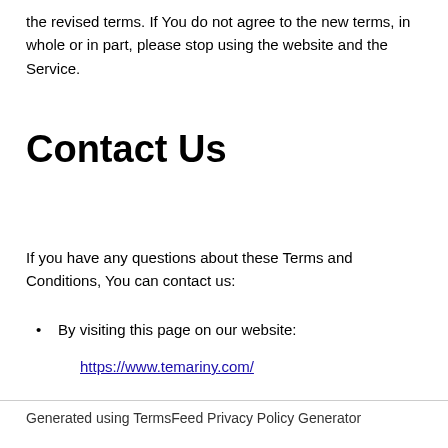the revised terms. If You do not agree to the new terms, in whole or in part, please stop using the website and the Service.
Contact Us
If you have any questions about these Terms and Conditions, You can contact us:
By visiting this page on our website:
https://www.temariny.com/
Generated using TermsFeed Privacy Policy Generator